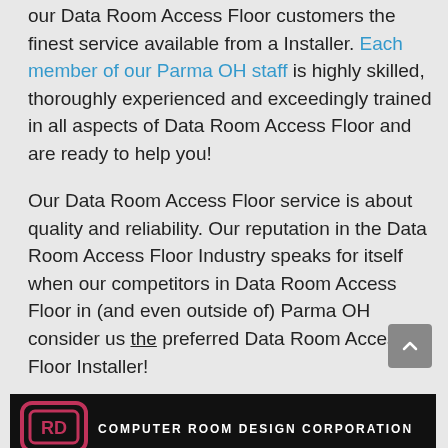our Data Room Access Floor customers the finest service available from a Installer. Each member of our Parma OH staff is highly skilled, thoroughly experienced and exceedingly trained in all aspects of Data Room Access Floor and are ready to help you!
Our Data Room Access Floor service is about quality and reliability. Our reputation in the Data Room Access Floor Industry speaks for itself when our competitors in Data Room Access Floor in (and even outside of) Parma OH consider us the preferred Data Room Access Floor Installer!
[Figure (logo): Computer Room Design Corporation logo — dark banner with RD icon and text COMPUTER ROOM DESIGN CORPORATION]
Custom solutions for Data Room Access Floor in Parma OH from